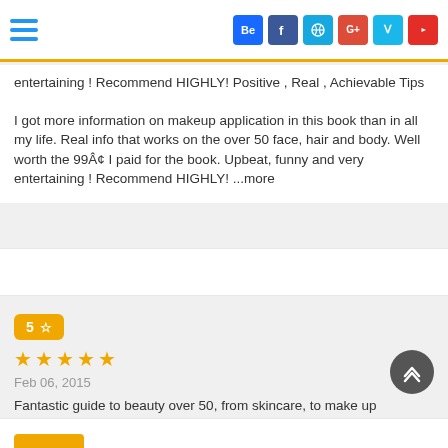Header bar with hamburger menu and social icons: Behance, Facebook, Dribbble, Google+, Vimeo, YouTube
entertaining ! Recommend HIGHLY! Positive , Real , Achievable Tips
I got more information on makeup application in this book than in all my life. Real info that works on the over 50 face, hair and body. Well worth the 99¢ I paid for the book. Upbeat, funny and very entertaining ! Recommend HIGHLY! ...more
5 ☆ (rating badge), 5 stars, Feb 06, 2015
Fantastic guide to beauty over 50, from skincare, to make up essentials and application secrets (with specific product recommendations), style tips and even the pros, cons, and costs of various cosmetic procedures.